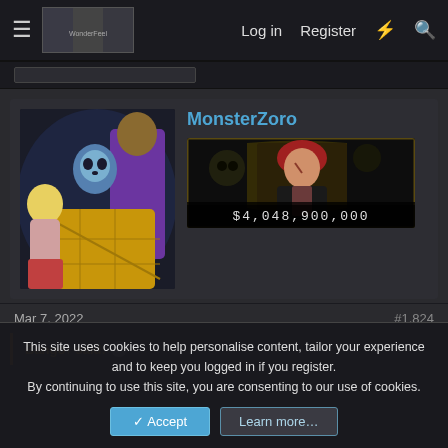Log in  Register
[Figure (screenshot): Forum post by user MonsterZoro showing an anime avatar image and a banner with the number $4,048,900,000]
MonsterZoro
$4,048,900,000
Mar 7, 2022
#1,824
Bango↑ said: ↑
This site uses cookies to help personalise content, tailor your experience and to keep you logged in if you register.
By continuing to use this site, you are consenting to our use of cookies.